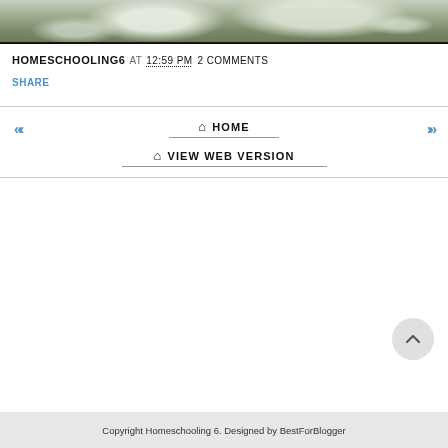[Figure (photo): Snow-covered stone or concrete surface with engraved/raised letters visible, viewed from above]
HOMESCHOOLING6 AT 12:59 PM 2 COMMENTS
SHARE
HOME
VIEW WEB VERSION
Copyright Homeschooling 6. Designed by BestForBlogger